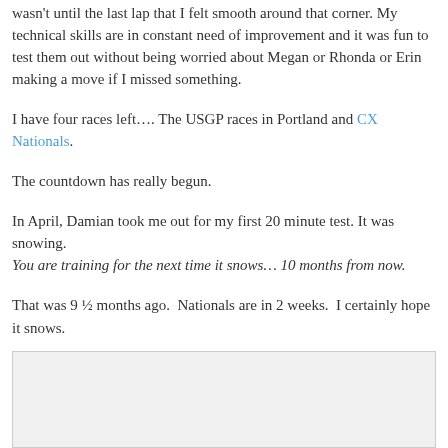wasn't until the last lap that I felt smooth around that corner. My technical skills are in constant need of improvement and it was fun to test them out without being worried about Megan or Rhonda or Erin making a move if I missed something.
I have four races left…. The USGP races in Portland and CX Nationals.
The countdown has really begun.
In April, Damian took me out for my first 20 minute test. It was snowing. You are training for the next time it snows… 10 months from now.
That was 9 ½ months ago.  Nationals are in 2 weeks.  I certainly hope it snows.
[Figure (photo): Image placeholder area at the bottom of the page]